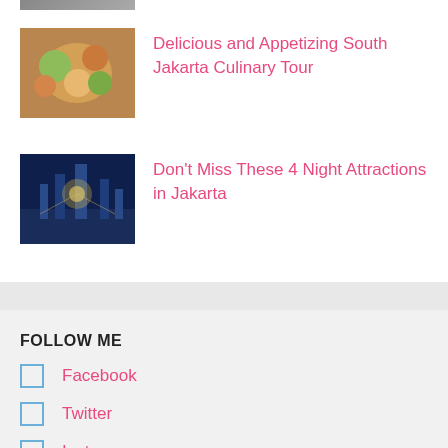[Figure (photo): Partial image visible at the very top of the page]
[Figure (photo): Food dishes - South Jakarta culinary tour thumbnail]
Delicious and Appetizing South Jakarta Culinary Tour
[Figure (photo): Jakarta night cityscape thumbnail]
Don't Miss These 4 Night Attractions in Jakarta
FOLLOW ME
Facebook
Twitter
Instagram
Pinterest